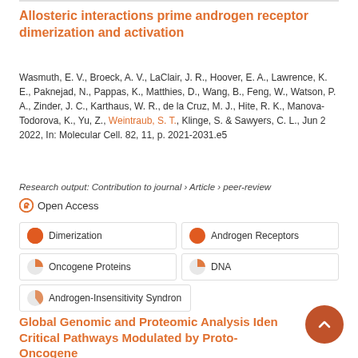Allosteric interactions prime androgen receptor dimerization and activation
Wasmuth, E. V., Broeck, A. V., LaClair, J. R., Hoover, E. A., Lawrence, K. E., Paknejad, N., Pappas, K., Matthies, D., Wang, B., Feng, W., Watson, P. A., Zinder, J. C., Karthaus, W. R., de la Cruz, M. J., Hite, R. K., Manova-Todorova, K., Yu, Z., Weintraub, S. T., Klinge, S. & Sawyers, C. L., Jun 2 2022, In: Molecular Cell. 82, 11, p. 2021-2031.e5
Research output: Contribution to journal › Article › peer-review
Open Access
| Dimerization | Androgen Receptors |
| Oncogene Proteins | DNA |
| Androgen-Insensitivity Syndron |  |
Global Genomic and Proteomic Analysis Identifies Critical Pathways Modulated by Proto-Oncogene PEL P1 in TNBC